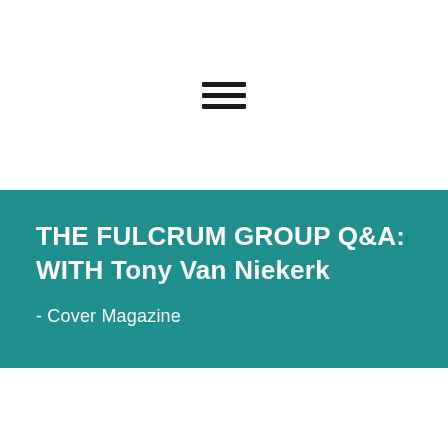[Figure (illustration): Hamburger menu icon — three horizontal black bars stacked vertically, centered in white space]
THE FULCRUM GROUP Q&A:
WITH Tony Van Niekerk
- Cover Magazine